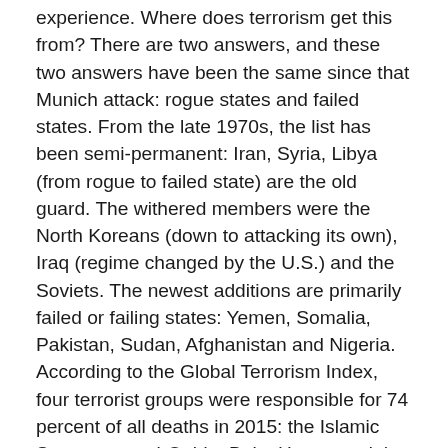experience. Where does terrorism get this from? There are two answers, and these two answers have been the same since that Munich attack: rogue states and failed states. From the late 1970s, the list has been semi-permanent: Iran, Syria, Libya (from rogue to failed state) are the old guard. The withered members were the North Koreans (down to attacking its own), Iraq (regime changed by the U.S.) and the Soviets. The newest additions are primarily failed or failing states: Yemen, Somalia, Pakistan, Sudan, Afghanistan and Nigeria. According to the Global Terrorism Index, four terrorist groups were responsible for 74 percent of all deaths in 2015: the Islamic State group, al-Qaida, Boko Haram and the Taliban. All of these are proponents of an extremist Sunni ideology and emanate out of failed or failing states. Further, terrorist groups receive haven, logistics, training and supplies from rogue states. South Asia, Africa and the Middle East account for 84 percent of terrorist attacks and 85 percent of terrorist deaths.